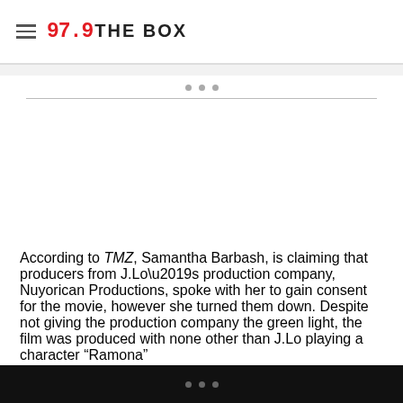97.9 THE BOX
According to TMZ, Samantha Barbash, is claiming that producers from J.Lo’s production company, Nuyorican Productions, spoke with her to gain consent for the movie, however she turned them down. Despite not giving the production company the green light, the film was produced with none other than J.Lo playing a character “Ramona”